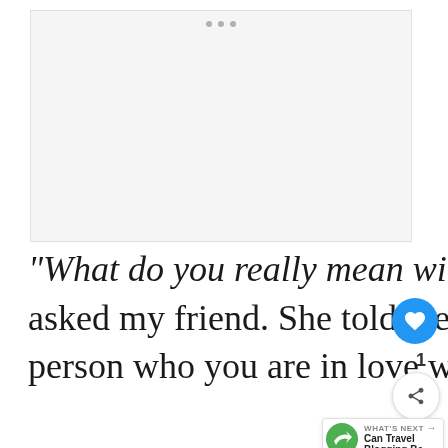[Figure (other): Advertisement placeholder with three grey dots at top center]
“What do you really mean with the one that got away?” I asked my friend. She told me that for her, it’s that one person who you are in love with but both of you couldn’t